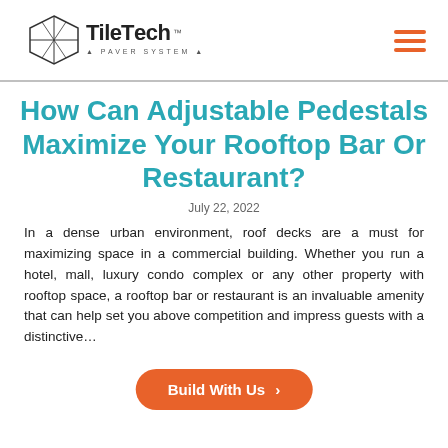TileTech Paver System
How Can Adjustable Pedestals Maximize Your Rooftop Bar Or Restaurant?
July 22, 2022
In a dense urban environment, roof decks are a must for maximizing space in a commercial building. Whether you run a hotel, mall, luxury condo complex or any other property with rooftop space, a rooftop bar or restaurant is an invaluable amenity that can help set you above competition and impress guests with a…